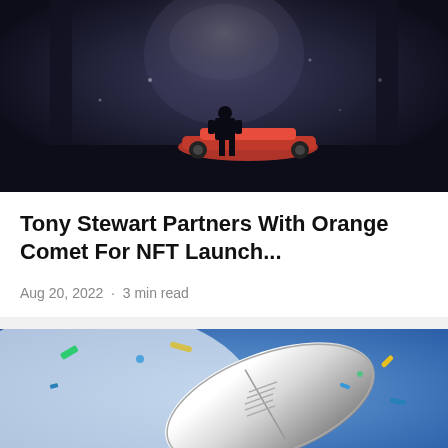[Figure (photo): Dark cinematic scene showing a silhouette of a person standing in front of a red race car, with a large projected face in the background]
Tony Stewart Partners With Orange Comet For NFT Launch...
Aug 20, 2022  ·  3 min read
[Figure (photo): Close-up of a shiny silver metallic football with blue and yellow confetti on a blue and white background]